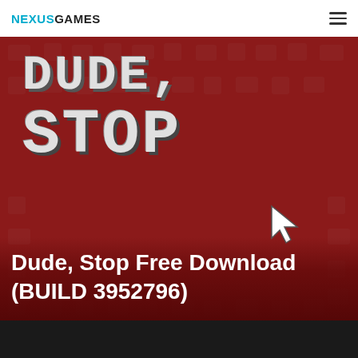NEXUSGAMES
[Figure (photo): Game cover art for 'Dude, Stop' showing pixel-art styled text 'DUDE, STOP' in large grey 3D block letters on a dark red background filled with faint gaming icons, with a white mouse cursor icon overlaid on the letter 'O' in STOP. Overlaid on the lower portion of the image is the text 'Dude, Stop Free Download (BUILD 3952796)' in white.]
Dude, Stop Free Download (BUILD 3952796)